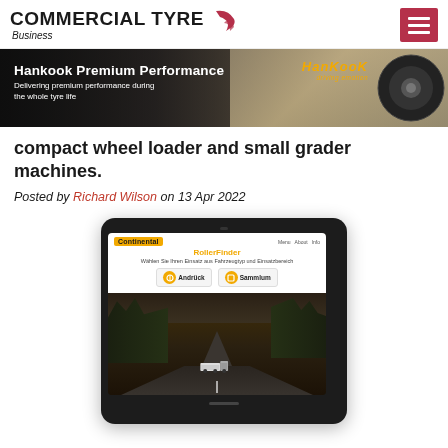COMMERCIAL TYRE Business
[Figure (photo): Hankook Premium Performance banner advertisement showing truck on road with Hankook logo and text: 'Hankook Premium Performance - Delivering premium performance during the whole tyre life']
compact wheel loader and small grader machines.
Posted by Richard Wilson on 13 Apr 2022
[Figure (screenshot): Screenshot of Continental RollerFinder web application displayed on a tablet, showing the Continental logo, RollerFinder title, navigation buttons (Andrück, Sammlum), and a background image of a truck on a road through a landscape.]